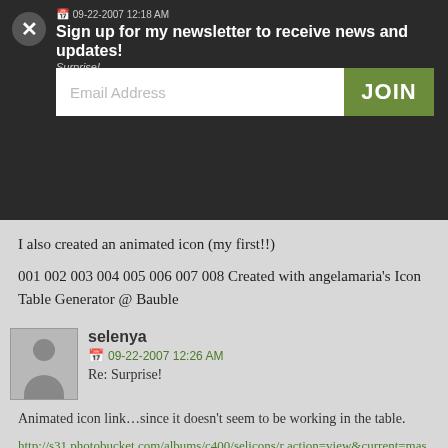[Figure (screenshot): Dark newsletter signup overlay with close button (X), calendar icon and date 09-22-2007 12:18 AM, newsletter signup text, email address input field, and green JOIN button]
I also created an animated icon (my first!!)
001 002 003 004 005 006 007 008 Created with angelamaria's Icon Table Generator @ Bauble
selenya
09-22-2007 12:26 AM
Re: Surprise!
Animated icon link…since it doesn't seem to be working in the table.
http://s31.photobucket.com/albums/c400/selicons/r action=view&current=mastermc.gif